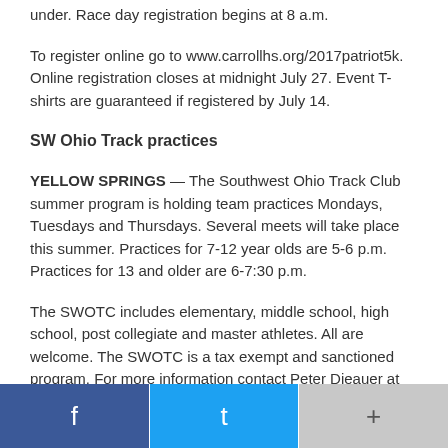under. Race day registration begins at 8 a.m.
To register online go to www.carrollhs.org/2017patriot5k. Online registration closes at midnight July 27. Event T-shirts are guaranteed if registered by July 14.
SW Ohio Track practices
YELLOW SPRINGS — The Southwest Ohio Track Club summer program is holding team practices Mondays, Tuesdays and Thursdays. Several meets will take place this summer. Practices for 7-12 year olds are 5-6 p.m. Practices for 13 and older are 6-7:30 p.m.
The SWOTC includes elementary, middle school, high school, post collegiate and master athletes. All are welcome. The SWOTC is a tax exempt and sanctioned program. For more information contact Peter Dieauer at 815-990-8452 or president@swohiotc.org or Head Coach Valerie Kirk at 937-
Facebook | Twitter | More